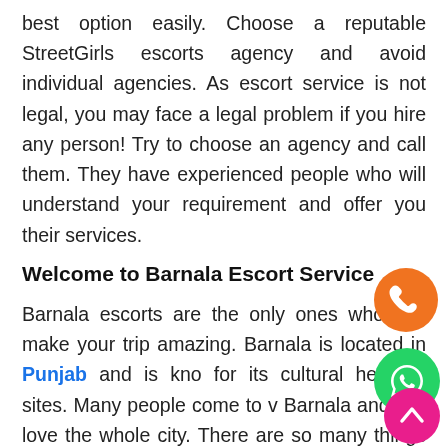best option easily. Choose a reputable StreetGirls escorts agency and avoid individual agencies. As escort service is not legal, you may face a legal problem if you hire any person! Try to choose an agency and call them. They have experienced people who will understand your requirement and offer you their services.
Welcome to Barnala Escort Service
Barnala escorts are the only ones who can make your trip amazing. Barnala is located in Punjab and is kno for its cultural heritage sites. Many people come to v Barnala and just love the whole city. There are so many things to see and see that will make you fall in love with this city. But if you are single and do not have a partner, then you will be bored. Seeing all the good things will not please you until you have someone by your side. Therefore, we urge all men who come to this city to hire girls in Barnala. We know that you may think this is not right. Well, we have to say that a lot of men do that, and they are very happy.